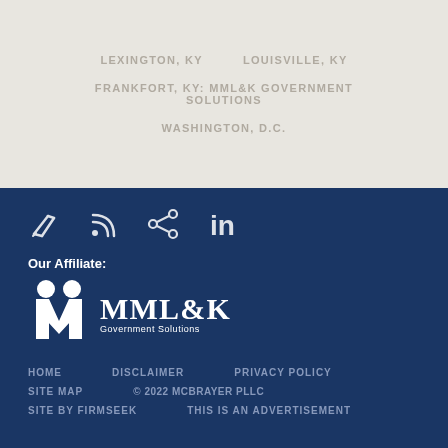LEXINGTON, KY    LOUISVILLE, KY
FRANKFORT, KY: MML&K GOVERNMENT SOLUTIONS
WASHINGTON, D.C.
[Figure (infographic): Social media icons: pencil/edit, RSS feed, share, LinkedIn]
Our Affiliate:
[Figure (logo): MML&K Government Solutions logo with stylized M icon and text]
HOME   DISCLAIMER   PRIVACY POLICY   SITE MAP   © 2022 MCBRAYER PLLC   SITE BY FIRMSEEK   THIS IS AN ADVERTISEMENT